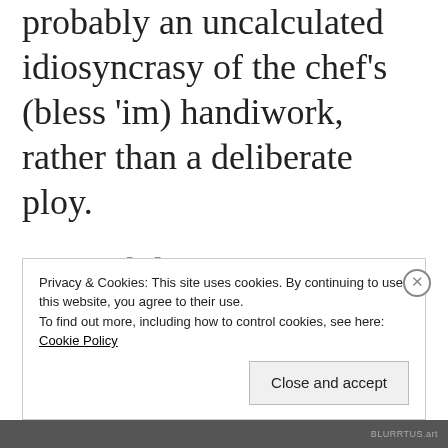probably an uncalculated idiosyncrasy of the chef's (bless 'im) handiwork, rather than a deliberate ploy.
(No, I didn't have the munchies at the time, nor did I pop any psychedelics).
Privacy & Cookies: This site uses cookies. By continuing to use this website, you agree to their use.
To find out more, including how to control cookies, see here: Cookie Policy